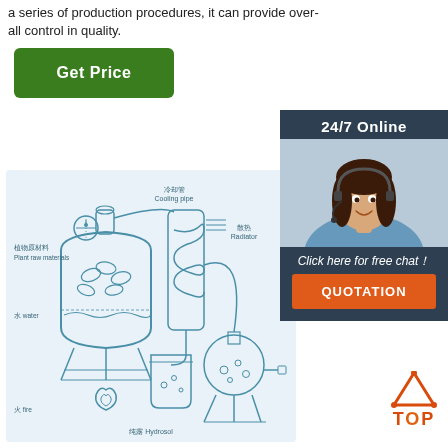a series of production procedures, it can provide over-all control in quality.
[Figure (other): Green 'Get Price' button]
[Figure (other): 24/7 Online customer service panel with photo, 'Click here for free chat!' text and QUOTATION button]
[Figure (engineering-diagram): Distillation/hydrosol extraction process diagram with labels: 冷却管 Cooling pipe, 散热 Radiator, 植物原材料 Plant raw materials, 水 water, 火 fire, 纯露 Hydrosol]
[Figure (logo): TOP logo with orange triangle icon]